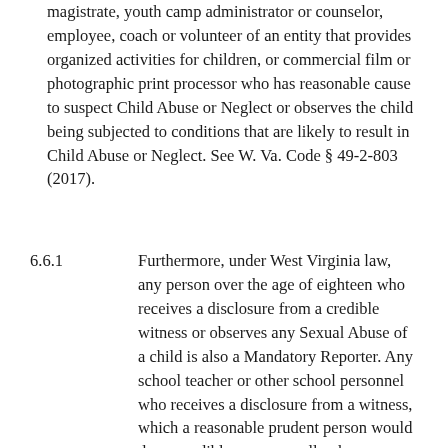magistrate, youth camp administrator or counselor, employee, coach or volunteer of an entity that provides organized activities for children, or commercial film or photographic print processor who has reasonable cause to suspect Child Abuse or Neglect or observes the child being subjected to conditions that are likely to result in Child Abuse or Neglect. See W. Va. Code § 49-2-803 (2017).
6.6.1   Furthermore, under West Virginia law, any person over the age of eighteen who receives a disclosure from a credible witness or observes any Sexual Abuse of a child is also a Mandatory Reporter. Any school teacher or other school personnel who receives a disclosure from a witness, which a reasonable prudent person would deem credible, or personally observes any sexual contact, sexual